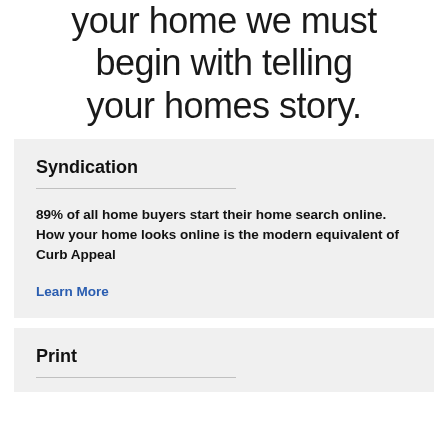your home we must begin with telling your homes story.
Syndication
89% of all home buyers start their home search online. How your home looks online is the modern equivalent of Curb Appeal
Learn More
Print